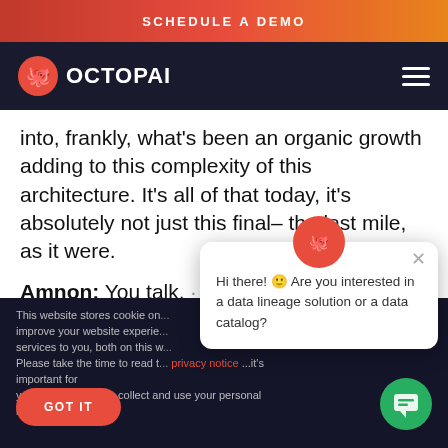SCHEDULE A DEMO
[Figure (logo): Octopai logo with octopus icon and text OCTOPAI on dark navy navigation bar with hamburger menu]
into, frankly, what's been an organic growth adding to this complexity of this architecture. It's all of that today, it's absolutely not just this final– the last mile, as it were.
Amnon: You talk, about the BI lan...
This website stores cookie on... improve your website experie... services to you, both on this w... Please take the time to read t... privacy notice ...it's important for you to know how we collect and use your personal information.
GOT IT
[Figure (screenshot): Chat popup bubble with Octopai avatar icon saying: Hi there! 😊 Are you interested in a data lineage solution or a data catalog?]